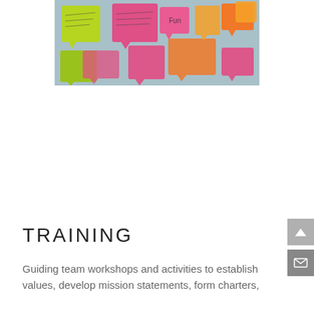[Figure (photo): Colorful speech-bubble shaped sticky notes in pink, green, and orange arranged on a light blue surface with handwritten text on them.]
TRAINING
Guiding team workshops and activities to establish values, develop mission statements, form charters,